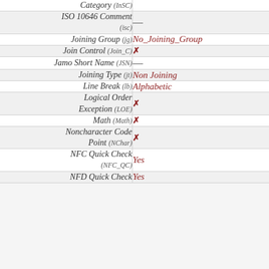| Property | Value |
| --- | --- |
| Category (InSC) |  |
| ISO 10646 Comment (isc) | — |
| Joining Group (jg) | No_Joining_Group |
| Join Control (Join_C) | ✗ |
| Jamo Short Name (JSN) | — |
| Joining Type (jt) | Non Joining |
| Line Break (lb) | Alphabetic |
| Logical Order Exception (LOE) | ✗ |
| Math (Math) | ✗ |
| Noncharacter Code Point (NChar) | ✗ |
| NFC Quick Check (NFC_QC) | Yes |
| NFD Quick Check | Yes |